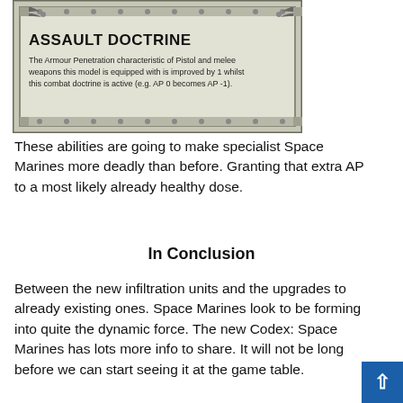[Figure (other): Game card image for 'Assault Doctrine' ability. Shows a decorated card with ornate border, wing emblems, and dot strip decorations. Title in bold uppercase: ASSAULT DOCTRINE. Text: The Armour Penetration characteristic of Pistol and melee weapons this model is equipped with is improved by 1 whilst this combat doctrine is active (e.g. AP 0 becomes AP -1).]
These abilities are going to make specialist Space Marines more deadly than before. Granting that extra AP to a most likely already healthy dose.
In Conclusion
Between the new infiltration units and the upgrades to already existing ones. Space Marines look to be forming into quite the dynamic force. The new Codex: Space Marines has lots more info to share. It will not be long before we can start seeing it at the game table.